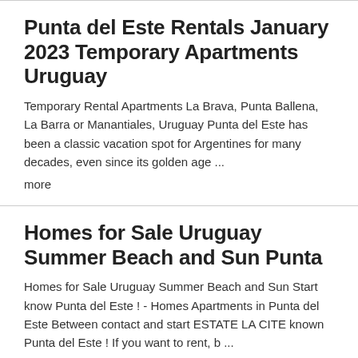Punta del Este Rentals January 2023 Temporary Apartments Uruguay
Temporary Rental Apartments La Brava, Punta Ballena, La Barra or Manantiales, Uruguay Punta del Este has been a classic vacation spot for Argentines for many decades, even since its golden age ...
more
Homes for Sale Uruguay Summer Beach and Sun Punta
Homes for Sale Uruguay Summer Beach and Sun Start know Punta del Este ! - Homes Apartments in Punta del Este Between contact and start ESTATE LA CITE known Punta del Este ! If you want to rent, b ...